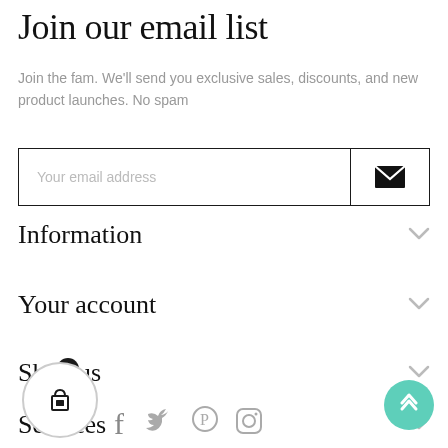Join our email list
Join the fam. We'll send you exclusive sales, discounts, and new product launches. No spam
[Figure (other): Email subscription input field with envelope/submit button]
Information
Your account
Shop us
Services
[Figure (other): Shopping cart icon button with badge showing 0, social media icons (Facebook, Twitter, Pinterest, Instagram), and a teal scroll-to-top arrow button]